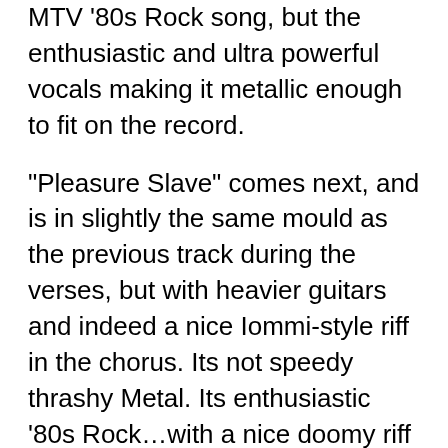MTV '80s Rock song, but the enthusiastic and ultra powerful vocals making it metallic enough to fit on the record.
“Pleasure Slave” comes next, and is in slightly the same mould as the previous track during the verses, but with heavier guitars and indeed a nice Iommi-style riff in the chorus. Its not speedy thrashy Metal. Its enthusiastic ‘80s Rock…with a nice doomy riff in the chorus. It sort of reminds me of Kiss’ “God Of Thunder” in its slow power.
Aside from the music, the most notable thing about this track is the over the top sexism… I mean it is arguably even more objectifying than what most Hair Metal bands wrote